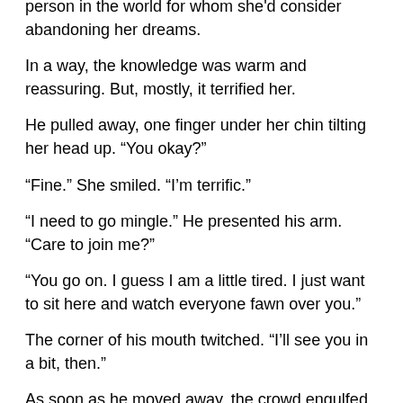person in the world for whom she'd consider abandoning her dreams.
In a way, the knowledge was warm and reassuring. But, mostly, it terrified her.
He pulled away, one finger under her chin tilting her head up. “You okay?”
“Fine.” She smiled. “I’m terrific.”
“I need to go mingle.” He presented his arm. “Care to join me?”
“You go on. I guess I am a little tired. I just want to sit here and watch everyone fawn over you.”
The corner of his mouth twitched. “I’ll see you in a bit, then.”
As soon as he moved away, the crowd engulfed him. Yes, Chris was right. In five years, Ken Harper was going to be the uncontested king of the Los Angeles restaurant scene.
She turned back to the bar, then took an idle sip of wine